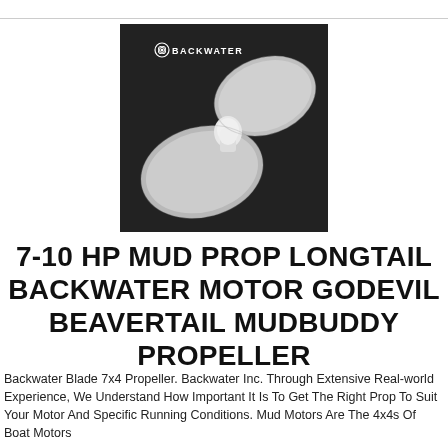[Figure (photo): A two-blade boat propeller (Backwater Blade 7x4) photographed against a dark background. The BACKWATER logo appears in the upper left of the image. The propeller blades are silver/metallic with a white hub in the center.]
7-10 HP MUD PROP LONGTAIL BACKWATER MOTOR GODEVIL BEAVERTAIL MUDBUDDY PROPELLER
Backwater Blade 7x4 Propeller. Backwater Inc. Through Extensive Real-world Experience, We Understand How Important It Is To Get The Right Prop To Suit Your Motor And Specific Running Conditions. Mud Motors Are The 4x4s Of Boat Motors